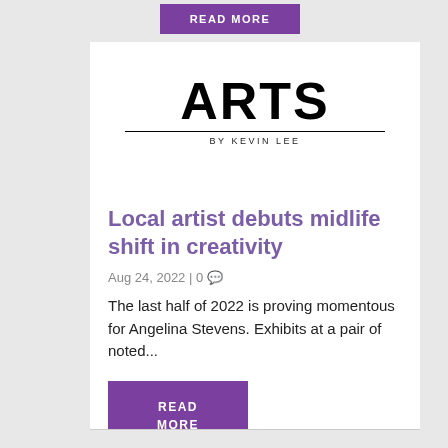[Figure (other): Purple 'READ MORE' button at top of page]
[Figure (logo): ARTS section header logo with 'BY KEVIN LEE' subtitle, horizontal rules on either side]
Local artist debuts midlife shift in creativity
Aug 24, 2022 | 0
The last half of 2022 is proving momentous for Angelina Stevens. Exhibits at a pair of noted...
[Figure (other): Purple 'READ MORE' button]